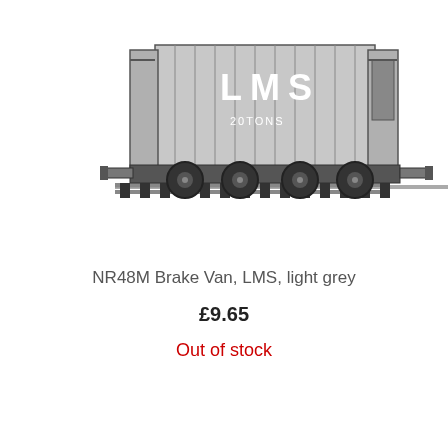[Figure (photo): Black and white photograph of a model railway brake van (NR48M) in LMS light grey livery, showing the side profile of the van on track. The van is labelled 'LMS' and '20TONS' on its side.]
NR48M Brake Van, LMS, light grey
£9.65
Out of stock